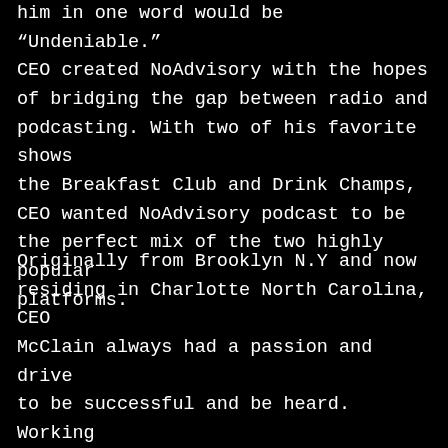him in one word would be "Undeniable." CEO created NoAdvisory with the hopes of bridging the gap between radio and podcasting. With two of his favorite shows the Breakfast Club and Drink Champs, CEO wanted NoAdvisory podcast to be the perfect mix of the two highly popular platforms.
Originally from Brooklyn N.Y and now residing in Charlotte North Carolina, CEO McClain always had a passion and drive to be successful and be heard. Working for others was never really an option in the foreseeable future for CEO for he always wanted to be his own boss and work with like-minded individuals who